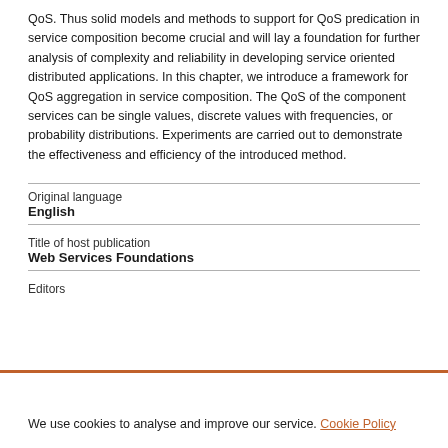QoS. Thus solid models and methods to support for QoS predication in service composition become crucial and will lay a foundation for further analysis of complexity and reliability in developing service oriented distributed applications. In this chapter, we introduce a framework for QoS aggregation in service composition. The QoS of the component services can be single values, discrete values with frequencies, or probability distributions. Experiments are carried out to demonstrate the effectiveness and efficiency of the introduced method.
| Field | Value |
| --- | --- |
| Original language | English |
| Title of host publication | Web Services Foundations |
| Editors |  |
We use cookies to analyse and improve our service. Cookie Policy